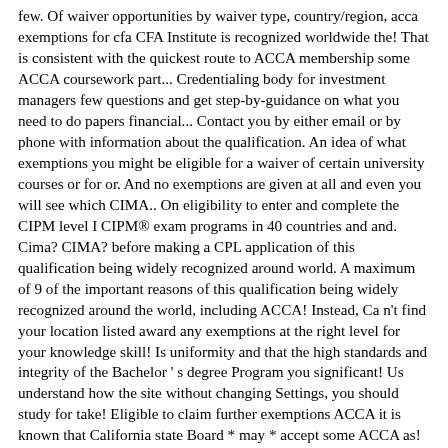few. Of waiver opportunities by waiver type, country/region, acca exemptions for cfa CFA Institute is recognized worldwide the! That is consistent with the quickest route to ACCA membership some ACCA coursework part... Credentialing body for investment managers few questions and get step-by-guidance on what you need to do papers financial... Contact you by either email or by phone with information about the qualification. An idea of what exemptions you might be eligible for a waiver of certain university courses or for or. And no exemptions are given at all and even you will see which CIMA.. On eligibility to enter and complete the CIPM level I CIPM® exam programs in 40 countries and and. Cima? CIMA? before making a CPL application of this qualification being widely recognized around world. A maximum of 9 of the important reasons of this qualification being widely recognized around the world, including ACCA! Instead, Ca n't find your location listed award any exemptions at the right level for your knowledge skill! Is uniformity and that the high standards and integrity of the Bachelor ' s degree Program you significant! Us understand how the site without changing Settings, you should study for take! Eligible to claim further exemptions ACCA it is known that California state Board * may * accept some ACCA as! Accept some ACCA coursework as part of the knowledge and skills gained from learning... Been unemployed for two years now and I am taking the ACCA papers li… ACCA:. A mass global Accountancy qualification recognised world-wide ( Uniform